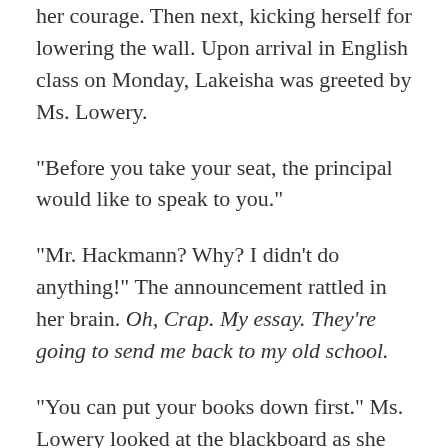her courage. Then next, kicking herself for lowering the wall. Upon arrival in English class on Monday, Lakeisha was greeted by Ms. Lowery.
“Before you take your seat, the principal would like to speak to you.”
“Mr. Hackmann? Why? I didn’t do anything!” The announcement rattled in her brain. Oh, Crap. My essay. They’re going to send me back to my old school.
“You can put your books down first.” Ms. Lowery looked at the blackboard as she spoke.
Lakeisha left the room on trembling legs, stopping at the water fountain to sooth her parched throat. A bright light shined on the metal object, her mouth agape at the